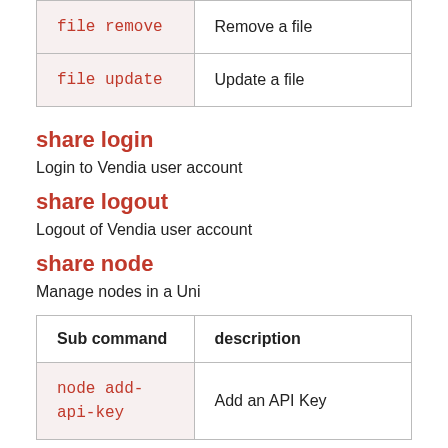| Sub command | description |
| --- | --- |
| file remove | Remove a file |
| file update | Update a file |
share login
Login to Vendia user account
share logout
Logout of Vendia user account
share node
Manage nodes in a Uni
| Sub command | description |
| --- | --- |
| node add-
api-key | Add an API Key |